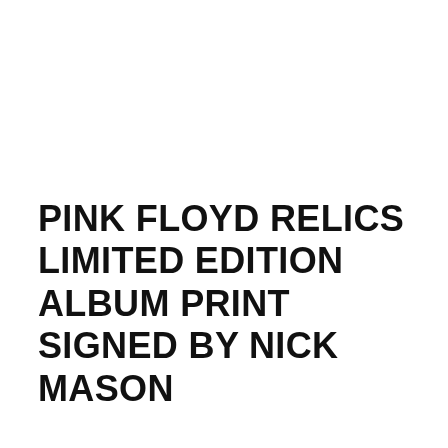PINK FLOYD RELICS LIMITED EDITION ALBUM PRINT SIGNED BY NICK MASON